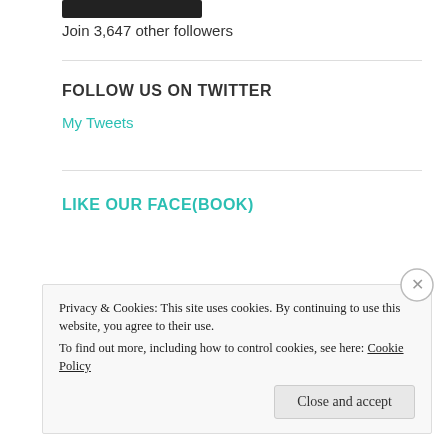[Figure (other): Black button/widget]
Join 3,647 other followers
FOLLOW US ON TWITTER
My Tweets
LIKE OUR FACE(BOOK)
Privacy & Cookies: This site uses cookies. By continuing to use this website, you agree to their use.
To find out more, including how to control cookies, see here: Cookie Policy
Close and accept